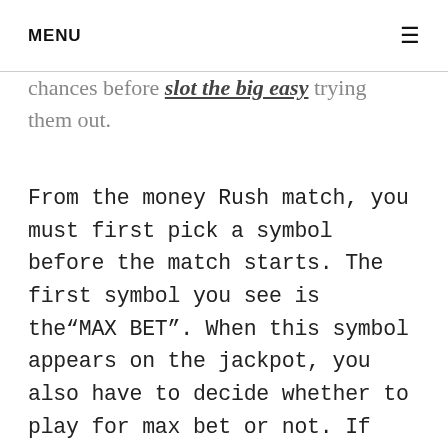MENU
them has different kinds of jackpots, so that you have to be aware of the chances before slot the big easy trying them out.
From the money Rush match, you must first pick a symbol before the match starts. The first symbol you see is the“MAX BET”. When this symbol appears on the jackpot, you also have to decide whether to play for max bet or not. If you click the“MAX BET” icon, then the game is going to have you play for max bet. The game is won by whoever receives the highest amount of cash when the end of the bonus period